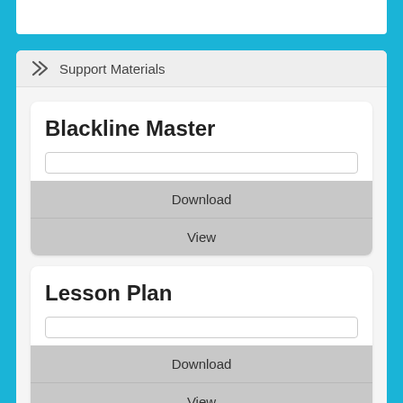>> Support Materials
Blackline Master
Download
View
Lesson Plan
Download
View